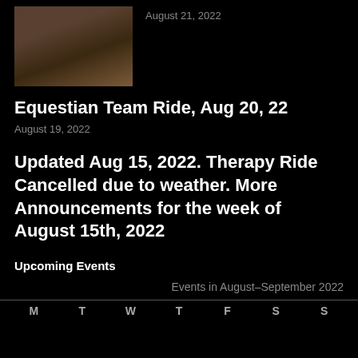[Figure (photo): Photo of people with horses, outdoors on dirt ground]
August 21, 2022
Equestian Team Ride, Aug 20, 22
August 19, 2022
Updated Aug 15, 2022. Therapy Ride Cancelled due to weather. More Announcements for the week of August 15th, 2022
Upcoming Events
Events in August–September 2022
| M | T | W | T | F | S | S |
| --- | --- | --- | --- | --- | --- | --- |